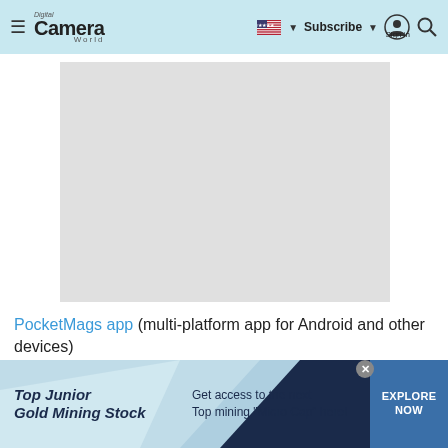Digital Camera World — Subscribe | Sign in
[Figure (screenshot): Gray placeholder image area for an embedded image or advertisement on a Digital Camera World webpage]
PocketMags app (multi-platform app for Android and other devices)
[Figure (infographic): Ad banner: Top Junior Gold Mining Stock — Get access to the next Top mining "Micro Cap" here! EXPLORE NOW]